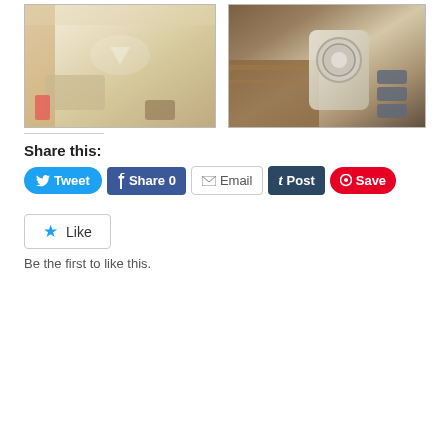[Figure (photo): Car interior showing beige/cream leather rear seats with sunlight]
[Figure (photo): Car center console with gear shifter and wood trim]
Share this:
[Figure (infographic): Social share buttons: Tweet, Share 0, Email, Post, Save]
[Figure (infographic): Like button widget]
Be the first to like this.